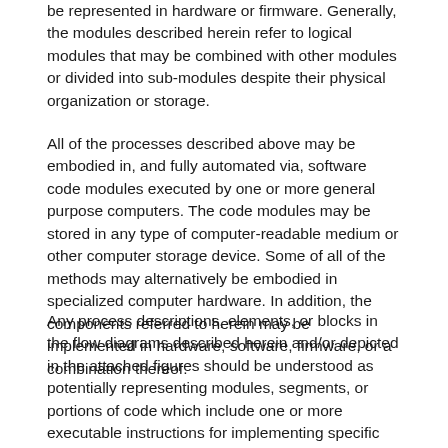be represented in hardware or firmware. Generally, the modules described herein refer to logical modules that may be combined with other modules or divided into sub-modules despite their physical organization or storage.
All of the processes described above may be embodied in, and fully automated via, software code modules executed by one or more general purpose computers. The code modules may be stored in any type of computer-readable medium or other computer storage device. Some of all of the methods may alternatively be embodied in specialized computer hardware. In addition, the components referred to herein may be implemented in hardware, software, firmware, or a combination thereof.
Any process descriptions, elements, or blocks in the flow diagrams described herein and/or depicted in the attached figures should be understood as potentially representing modules, segments, or portions of code which include one or more executable instructions for implementing specific logical functions or steps in the process. Alternate implementations are included within the scope of the embodiments described herein in which elements or